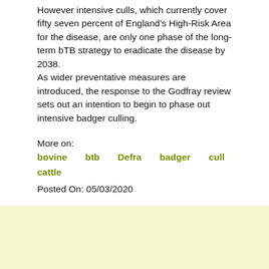However intensive culls, which currently cover fifty seven percent of England's High-Risk Area for the disease, are only one phase of the long-term bTB strategy to eradicate the disease by 2038. As wider preventative measures are introduced, the response to the Godfray review sets out an intention to begin to phase out intensive badger culling.
More on:
bovine   btb   Defra   badger   cull cattle
Posted On: 05/03/2020
Connect with Us